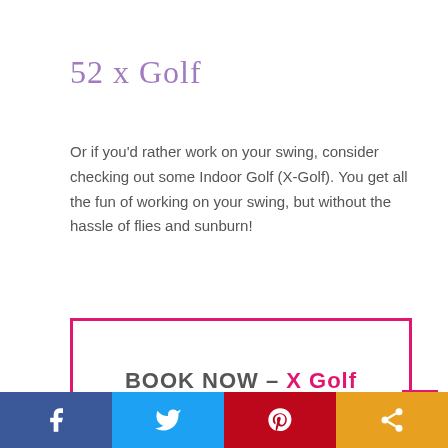52 x Golf
Or if you'd rather work on your swing, consider checking out some Indoor Golf (X-Golf). You get all the fun of working on your swing, but without the hassle of flies and sunburn!
BOOK NOW – X Golf
Heading Further South? Things To Do On The Fleurieu Peninsula